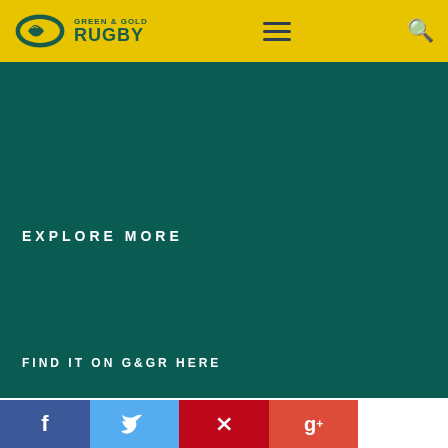GREEN & GOLD RUGBY
EXPLORE MORE
FIND IT ON G&GR HERE
[Figure (infographic): Social media share bar with Facebook, Twitter, Pinterest, Google+ buttons]